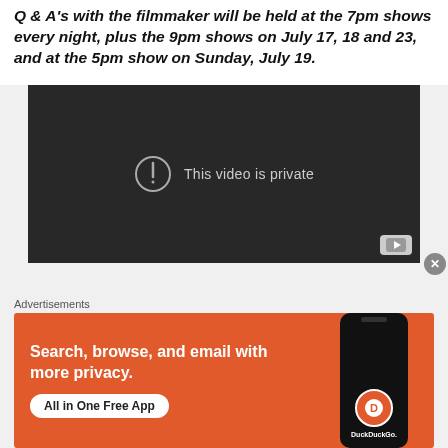Q & A's with the filmmaker will be held at the 7pm shows every night, plus the 9pm shows on July 17, 18 and 23, and at the 5pm show on Sunday, July 19.
[Figure (screenshot): Embedded video player showing 'This video is private' error message with YouTube icon, on dark background]
Advertisements
[Figure (screenshot): DuckDuckGo advertisement: 'Search, browse, and email with more privacy. All in One Free App' with phone graphic showing DuckDuckGo logo]